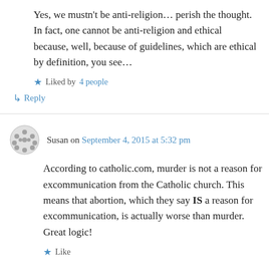Yes, we mustn't be anti-religion… perish the thought. In fact, one cannot be anti-religion and ethical because, well, because of guidelines, which are ethical by definition, you see…
Liked by 4 people
↳ Reply
Susan on September 4, 2015 at 5:32 pm
According to catholic.com, murder is not a reason for excommunication from the Catholic church. This means that abortion, which they say IS a reason for excommunication, is actually worse than murder. Great logic!
Like